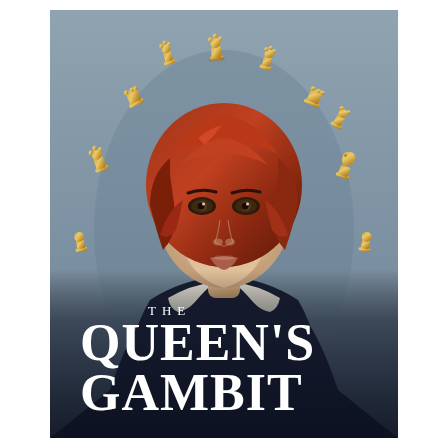[Figure (illustration): Movie/TV show poster for 'The Queen's Gambit'. A young woman with short auburn/red hair and a fair complexion is centered in the image, wearing a dark navy dress with a white peter pan collar. Around her head, arranged in a halo-like arc, are multiple golden chess pieces (pawns, rooks, queens, knights). The background is a muted steel blue-grey. At the bottom of the poster, overlaid on the figure, is the title text: 'THE' in small spaced caps, then 'QUEEN'S' and 'GAMBIT' in large bold serif white letters.]